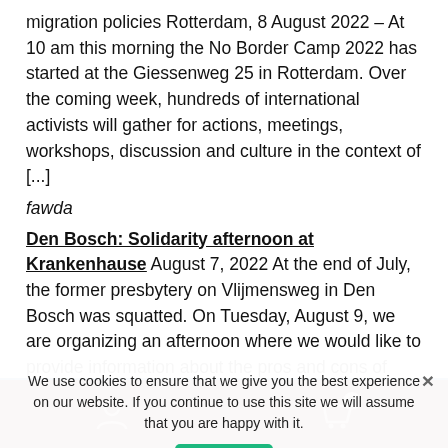migration policies Rotterdam, 8 August 2022 – At 10 am this morning the No Border Camp 2022 has started at the Giessenweg 25 in Rotterdam. Over the coming week, hundreds of international activists will gather for actions, meetings, workshops, discussion and culture in the context of [...]
fawda
Den Bosch: Solidarity afternoon at Krankenhause August 7, 2022 At the end of July, the former presbytery on Vlijmensweg in Den Bosch was squatted. On Tuesday, August 9, we are organizing an afternoon where we would like to provide information about the pros and cons of squatting, among other things. Our goal is to bring officials and young people closer together. It's well known
On February 1, 2021, Our Online-Shop will be closed. All orders until January 31 will be delivered
Dismiss
We use cookies to ensure that we give you the best experience on our website. If you continue to use this site we will assume that you are happy with it.
Ok